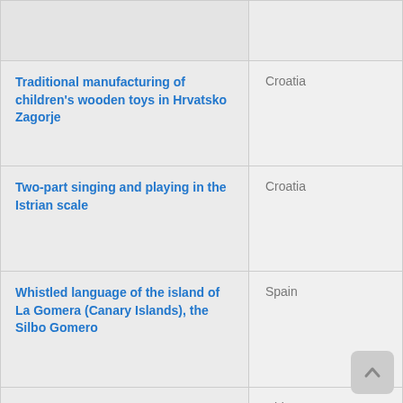| Element | Country |
| --- | --- |
| Traditional manufacturing of children's wooden toys in Hrvatsko Zagorje | Croatia |
| Two-part singing and playing in the Istrian scale | Croatia |
| Whistled language of the island of La Gomera (Canary Islands), the Silbo Gomero | Spain |
| Xi'an wind and percussion ensemble | China |
| Yeongsanjae | Republic of Korea |
| Yueju opera | China |